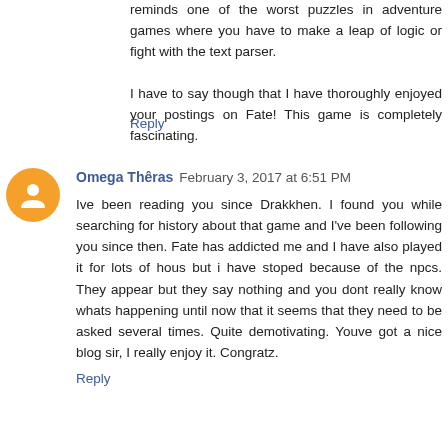reminds one of the worst puzzles in adventure games where you have to make a leap of logic or fight with the text parser.
I have to say though that I have thoroughly enjoyed your postings on Fate! This game is completely fascinating.
Reply
Omega Thêras  February 3, 2017 at 6:51 PM
Ive been reading you since Drakkhen. I found you while searching for history about that game and I've been following you since then. Fate has addicted me and I have also played it for lots of hous but i have stoped because of the npcs. They appear but they say nothing and you dont really know whats happening until now that it seems that they need to be asked several times. Quite demotivating. Youve got a nice blog sir, I really enjoy it. Congratz.
Reply